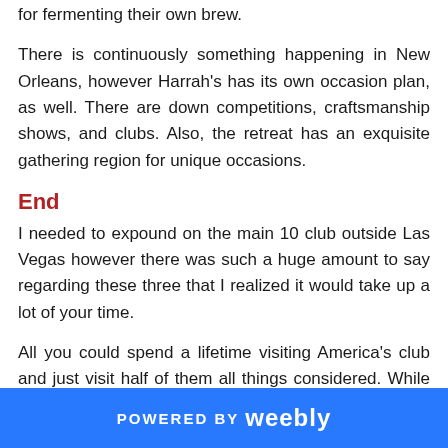for fermenting their own brew.
There is continuously something happening in New Orleans, however Harrah's has its own occasion plan, as well. There are down competitions, craftsmanship shows, and clubs. Also, the retreat has an exquisite gathering region for unique occasions.
End
I needed to expound on the main 10 club outside Las Vegas however there was such a huge amount to say regarding these three that I realized it would take up a lot of your time.
All you could spend a lifetime visiting America's club and just visit half of them all things considered. While neighborhood players appreciate having calm settings to invest energy in, it's the terrific retreats that we love to discuss. What's
POWERED BY weebly